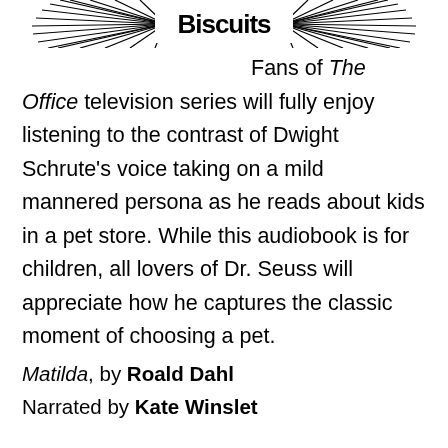[Figure (illustration): Decorative header illustration with radiating lines and stylized text/logo at the top of the page]
Fans of The Office television series will fully enjoy listening to the contrast of Dwight Schrute’s voice taking on a mild mannered persona as he reads about kids in a pet store. While this audiobook is for children, all lovers of Dr. Seuss will appreciate how he captures the classic moment of choosing a pet.
Matilda, by Roald Dahl
Narrated by Kate Winslet